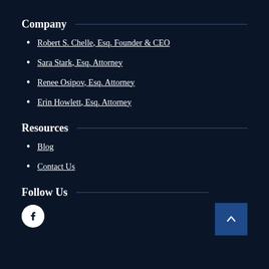Company
Robert S. Chelle, Esq. Founder & CEO
Sara Stark, Esq. Attorney
Renee Osipov, Esq. Attorney
Erin Howlett, Esq. Attorney
Resources
Blog
Contact Us
Follow Us
[Figure (illustration): Facebook icon — white circle with Facebook 'f' logo, and a blue scroll-to-top button with upward chevron arrow]